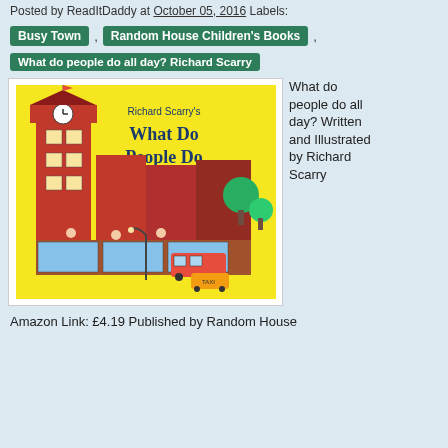Posted by ReadItDaddy at October 05, 2016 Labels:
Busy Town
Random House Children's Books
What do people do all day? Richard Scarry
[Figure (illustration): Book cover of Richard Scarry's 'What Do People Do All Day?' showing a busy cartoon town scene with a red clock tower, various animal characters, shops, a bus, taxi, and yellow background.]
What do people do all day? Written and Illustrated by Richard Scarry
Amazon Link: £4.19 Published by Random House